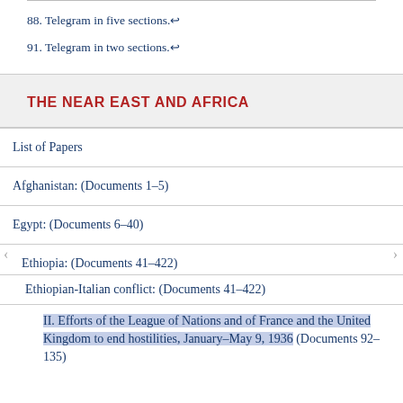88. Telegram in five sections. ↵
91. Telegram in two sections. ↵
THE NEAR EAST AND AFRICA
List of Papers
Afghanistan: (Documents 1–5)
Egypt: (Documents 6–40)
Ethiopia: (Documents 41–422)
Ethiopian-Italian conflict: (Documents 41–422)
II. Efforts of the League of Nations and of France and the United Kingdom to end hostilities, January–May 9, 1936 (Documents 92–135)